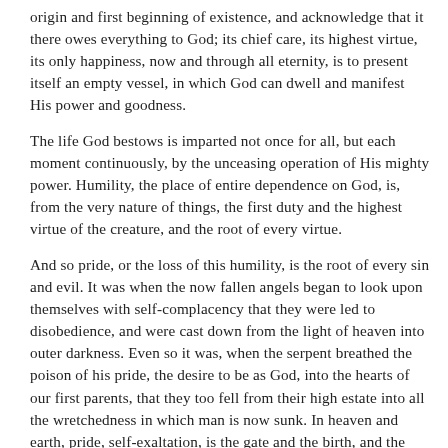origin and first beginning of existence, and acknowledge that it there owes everything to God; its chief care, its highest virtue, its only happiness, now and through all eternity, is to present itself an empty vessel, in which God can dwell and manifest His power and goodness.
The life God bestows is imparted not once for all, but each moment continuously, by the unceasing operation of His mighty power. Humility, the place of entire dependence on God, is, from the very nature of things, the first duty and the highest virtue of the creature, and the root of every virtue.
And so pride, or the loss of this humility, is the root of every sin and evil. It was when the now fallen angels began to look upon themselves with self-complacency that they were led to disobedience, and were cast down from the light of heaven into outer darkness. Even so it was, when the serpent breathed the poison of his pride, the desire to be as God, into the hearts of our first parents, that they too fell from their high estate into all the wretchedness in which man is now sunk. In heaven and earth, pride, self-exaltation, is the gate and the birth, and the curse, of hell. (See Note “A” at end of chapter.)